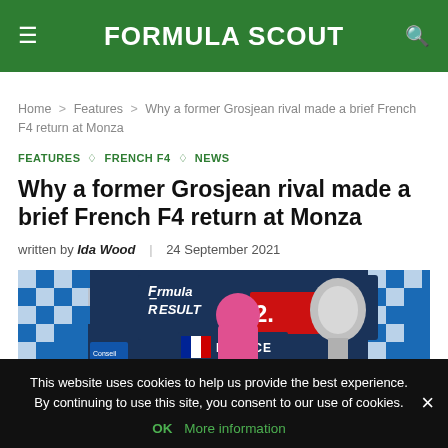FORMULA SCOUT
Home > Features > Why a former Grosjean rival made a brief French F4 return at Monza
FEATURES ◇ FRENCH F4 ◇ NEWS
Why a former Grosjean rival made a brief French F4 return at Monza
written by Ida Wood | 24 September 2021
[Figure (photo): Racing podium photo showing Formula Renault 2.0 France event, with a driver in pink suit holding a trophy, featuring elf branding and French flag. Blue and white checkered banners in background.]
This website uses cookies to help us provide the best experience. By continuing to use this site, you consent to our use of cookies.
OK More information